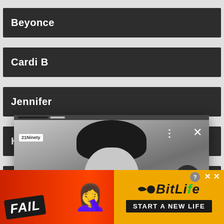Beyonce
Cardi B
Jennifer
Kanye We
Kim Kardashian
[Figure (screenshot): Popup overlay showing a black and white photo of a young Asian woman with a bob haircut, with article title 'Why The Clean Girl Aesthetic Is Problematic - 21Ninety'. Popup has a close X button, three-dot menu, arrow button, and 21Ninety logo.]
Why The 'Clean Girl' Aesthetic Is Problematic - 21Ninety
[Figure (screenshot): Advertisement banner for BitLife mobile game showing 'FAIL' text, emoji characters, flames, sperm icon, BitLife logo in yellow, and 'START A NEW LIFE' text on black background.]